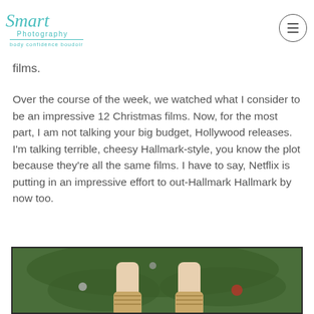Smart Photography body confidence boudoir
films.
Over the course of the week, we watched what I consider to be an impressive 12 Christmas films. Now, for the most part, I am not talking your big budget, Hollywood releases. I'm talking terrible, cheesy Hallmark-style, you know the plot because they're all the same films. I have to say, Netflix is putting in an impressive effort to out-Hallmark Hallmark by now too.
[Figure (photo): Photo of legs/feet in wooly socks in front of a decorated Christmas tree with ornaments]